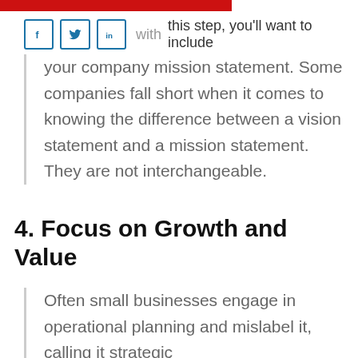with this step, you'll want to include your company mission statement. Some companies fall short when it comes to knowing the difference between a vision statement and a mission statement. They are not interchangeable.
4. Focus on Growth and Value
Often small businesses engage in operational planning and mislabel it, calling it strategic